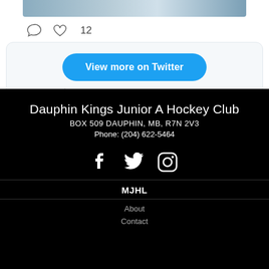[Figure (screenshot): Partial hockey image strip at top of a Twitter embed]
12
[Figure (screenshot): Twitter embed widget with 'View more on Twitter' button and privacy info link]
Dauphin Kings Junior A Hockey Club
BOX 509 DAUPHIN, MB, R7N 2V3
Phone: (204) 622-5464
[Figure (illustration): Social media icons: Facebook, Twitter, Instagram]
MJHL
About
Contact